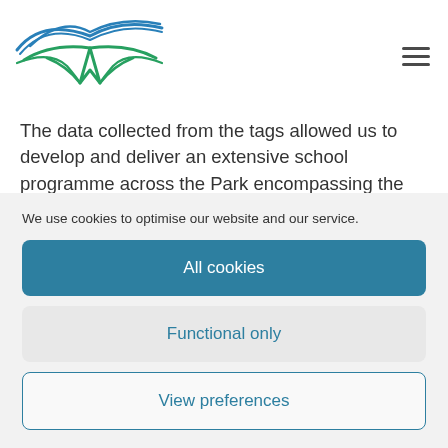[Figure (logo): Bird/seagull logo with blue and green outline lines, National Park style logo]
The data collected from the tags allowed us to develop and deliver an extensive school programme across the Park encompassing the three council areas. Numerous events, workshops and talks to the public, various groups and other
We use cookies to optimise our website and our service.
All cookies
Functional only
View preferences